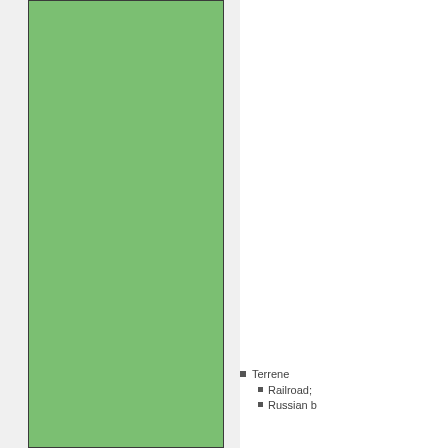[Figure (other): Large green rectangle filling the left portion of the page, with a dark border on left, top, and right sides.]
Terrene
Railroad;
Russian b